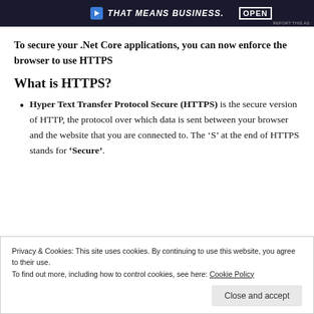[Figure (other): Advertisement banner with dark background, text 'THAT MEANS BUSINESS.' in white bold italic, and 'OPEN' text on right side with a hand image]
To secure your .Net Core applications, you can now enforce the browser to use HTTPS
What is HTTPS?
Hyper Text Transfer Protocol Secure (HTTPS) is the secure version of HTTP, the protocol over which data is sent between your browser and the website that you are connected to. The ‘S’ at the end of HTTPS stands for ‘Secure’.
Privacy & Cookies: This site uses cookies. By continuing to use this website, you agree to their use.
To find out more, including how to control cookies, see here: Cookie Policy
Close and accept